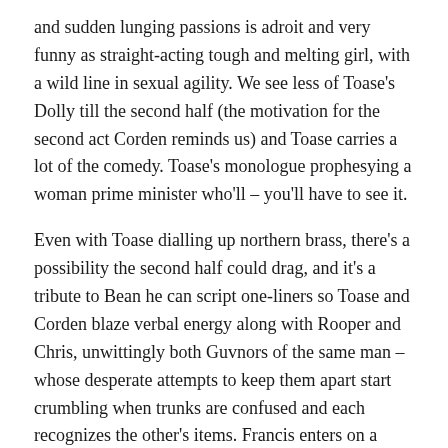and sudden lunging passions is adroit and very funny as straight-acting tough and melting girl, with a wild line in sexual agility. We see less of Toase's Dolly till the second half (the motivation for the second act Corden reminds us) and Toase carries a lot of the comedy. Toase's monologue prophesying a woman prime minister who'll – you'll have to see it.
Even with Toase dialling up northern brass, there's a possibility the second half could drag, and it's a tribute to Bean he can script one-liners so Toase and Corden blaze verbal energy along with Rooper and Chris, unwittingly both Guvnors of the same man – whose desperate attempts to keep them apart start crumbling when trunks are confused and each recognizes the other's items. Francis enters on a desperate ruse, which he uses twice. He has absolutely no idea it'll end on a couple of lamp-posts.
Tom Edden's outstanding Alfie steals the show though, as the 87-year-old waiter on his first day, with a variable-speed pacemaker. Less Faydeau on speed, this is more a white-haired punch-ball on